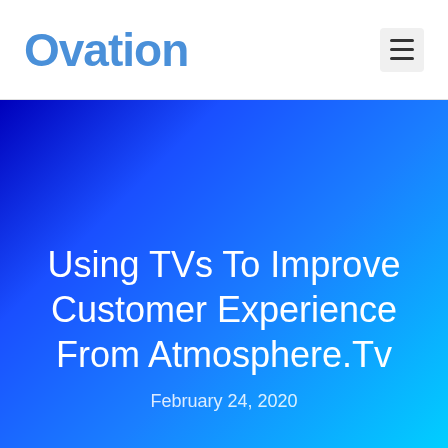Ovation
[Figure (illustration): Blue gradient hero banner background transitioning from dark blue on the left to cyan on the right]
Using TVs To Improve Customer Experience From Atmosphere.Tv
February 24, 2020